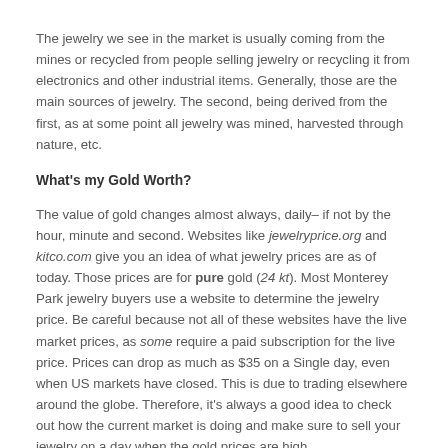The jewelry we see in the market is usually coming from the mines or recycled from people selling jewelry or recycling it from electronics and other industrial items. Generally, those are the main sources of jewelry. The second, being derived from the first, as at some point all jewelry was mined, harvested through nature, etc.
What's my Gold Worth?
The value of gold changes almost always, daily– if not by the hour, minute and second. Websites like jewelryprice.org and kitco.com give you an idea of what jewelry prices are as of today. Those prices are for pure gold (24 kt). Most Monterey Park jewelry buyers use a website to determine the jewelry price. Be careful because not all of these websites have the live market prices, as some require a paid subscription for the live price. Prices can drop as much as $35 on a Single day, even when US markets have closed. This is due to trading elsewhere around the globe. Therefore, it's always a good idea to check out how the current market is doing and make sure to sell your jewelry on a day when the gold prices are high.